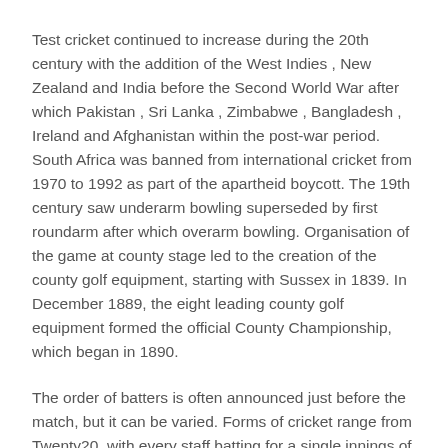Test cricket continued to increase during the 20th century with the addition of the West Indies , New Zealand and India before the Second World War after which Pakistan , Sri Lanka , Zimbabwe , Bangladesh , Ireland and Afghanistan within the post-war period. South Africa was banned from international cricket from 1970 to 1992 as part of the apartheid boycott. The 19th century saw underarm bowling superseded by first roundarm after which overarm bowling. Organisation of the game at county stage led to the creation of the county golf equipment, starting with Sussex in 1839. In December 1889, the eight leading county golf equipment formed the official County Championship, which began in 1890.
The order of batters is often announced just before the match, but it can be varied. Forms of cricket range from Twenty20, with every staff batting for a single innings of 20 overs and the sport usually lasting three hours, to Test matches played over five days. Traditionally cricketers play in all-white package, however in limited overs cricket they wear membership co...